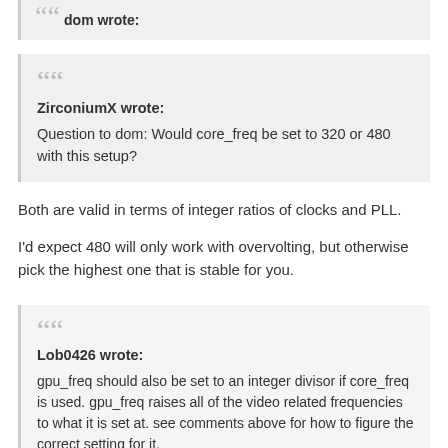dom wrote:
ZirconiumX wrote:
Question to dom: Would core_freq be set to 320 or 480 with this setup?
Both are valid in terms of integer ratios of clocks and PLL.
I'd expect 480 will only work with overvolting, but otherwise pick the highest one that is stable for you.
Lob0426 wrote:
gpu_freq should also be set to an integer divisor if core_freq is used. gpu_freq raises all of the video related frequencies to what it is set at. see comments above for how to figure the correct setting for it.
I think you are missing the nuance to his question here and